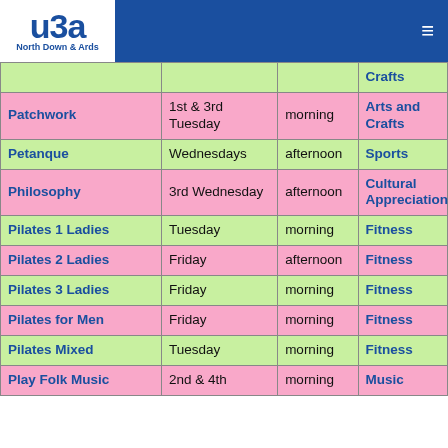u3a North Down & Ards
| Activity | When | Time | Category |
| --- | --- | --- | --- |
|  |  |  | Crafts |
| Patchwork | 1st & 3rd Tuesday | morning | Arts and Crafts |
| Petanque | Wednesdays | afternoon | Sports |
| Philosophy | 3rd Wednesday | afternoon | Cultural Appreciation |
| Pilates 1 Ladies | Tuesday | morning | Fitness |
| Pilates 2 Ladies | Friday | afternoon | Fitness |
| Pilates 3 Ladies | Friday | morning | Fitness |
| Pilates for Men | Friday | morning | Fitness |
| Pilates Mixed | Tuesday | morning | Fitness |
| Play Folk Music | 2nd & 4th | morning | Music |